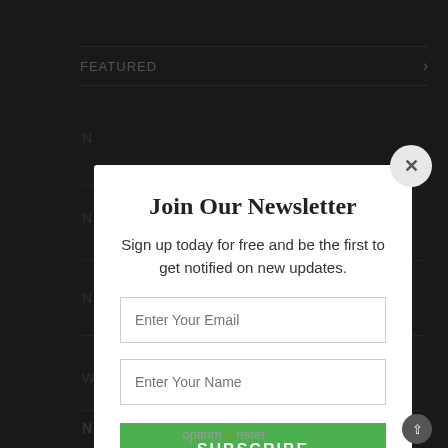FEATURED
[Figure (screenshot): Newsletter signup modal popup overlay on a dark website background. Modal contains title 'Join Our Newsletter', subtitle text, two input fields for email and name, a green Subscribe button, and a privacy disclaimer. The modal has a close (X) button in the top right corner. Footer shows 'optinmonster' branding.]
Join Our Newsletter
Sign up today for free and be the first to get notified on new updates.
Enter Your Email
Enter Your Name
SUBSCRIBE
We do not sell or share your information with anyone.
optinmonster